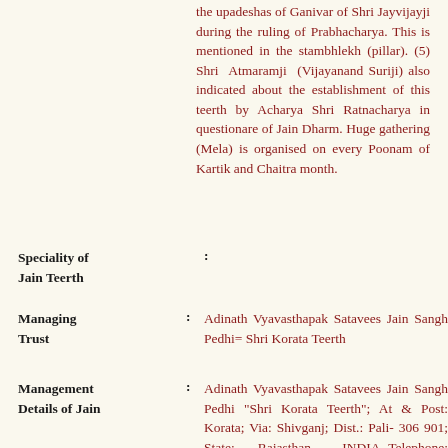the upadeshas of Ganivar of Shri Jayvijayji during the ruling of Prabhacharya. This is mentioned in the stambhlekh (pillar). (5) Shri Atmaramji (Vijayanand Suriji) also indicated about the establishment of this teerth by Acharya Shri Ratnacharya in questionare of Jain Dharm. Huge gathering (Mela) is organised on every Poonam of Kartik and Chaitra month.
Speciality of Jain Teerth :
Managing Trust : Adinath Vyavasthapak Satavees Jain Sangh Pedhi= Shri Korata Teerth
Management Details of Jain : Adinath Vyavasthapak Satavees Jain Sangh Pedhi "Shri Korata Teerth"; At & Post: Korata; Via: Shivganj; Dist.: Pali- 306 901; State: Rajasthan. INDIA. Telephone: (02933) 48235.
Geographical Details :